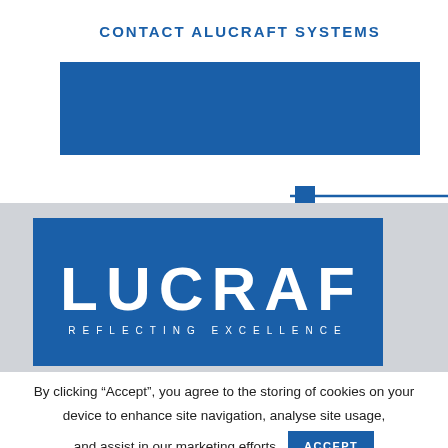CONTACT ALUCRAFT SYSTEMS
[Figure (logo): Alucraft logo on blue background with text ALUCRAFT and tagline REFLECTING EXCELLENCE]
By clicking "Accept", you agree to the storing of cookies on your device to enhance site navigation, analyse site usage, and assist in our marketing efforts